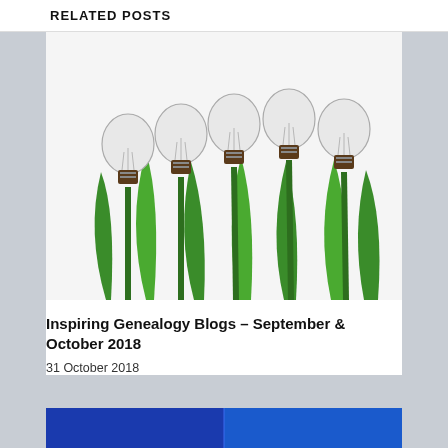RELATED POSTS
[Figure (photo): Five light bulbs growing like flowers on green tulip-like stems against a white background]
Inspiring Genealogy Blogs – September & October 2018
31 October 2018
[Figure (photo): Partial view of a blue-toned image, cut off at bottom of page]